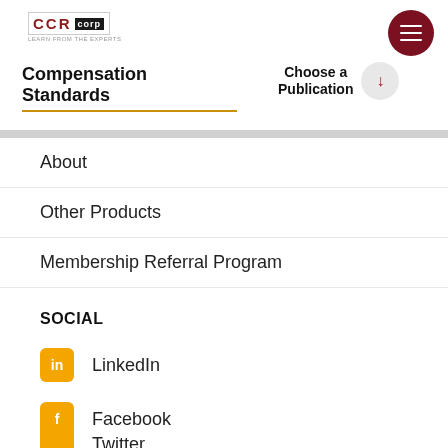CCR corp logo
Compensation Standards
Choose a Publication
About
Other Products
Membership Referral Program
SOCIAL
LinkedIn
Facebook
Twitter